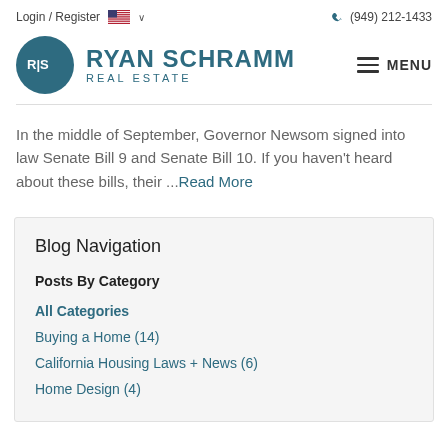Login / Register  🇺🇸 ∨    📞 (949) 212-1433
[Figure (logo): Ryan Schramm Real Estate logo with teal circle containing RS initials and text RYAN SCHRAMM REAL ESTATE, with MENU button on right]
In the middle of September, Governor Newsom signed into law Senate Bill 9 and Senate Bill 10. If you haven't heard about these bills, their ...Read More
Blog Navigation
Posts By Category
All Categories
Buying a Home  (14)
California Housing Laws + News  (6)
Home Design  (4)